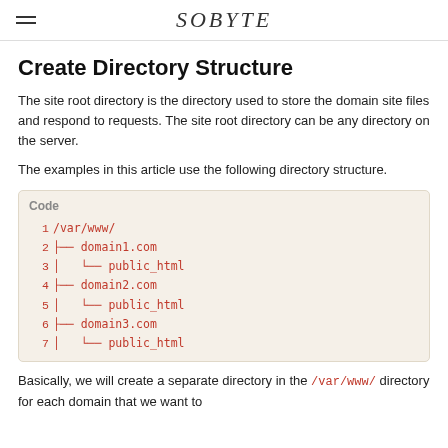SOBYTE
Create Directory Structure
The site root directory is the directory used to store the domain site files and respond to requests. The site root directory can be any directory on the server.
The examples in this article use the following directory structure.
[Figure (other): Code block showing directory structure: /var/www/ with domain1.com/public_html, domain2.com/public_html, domain3.com/public_html]
Basically, we will create a separate directory in the /var/www/ directory for each domain that we want to